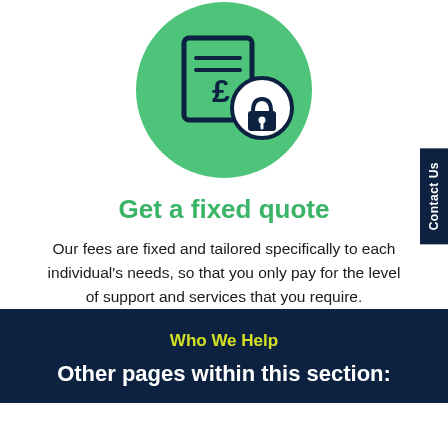[Figure (illustration): Green circle icon with a pound sign (£) on a document/card and a padlock symbol, representing fixed/secure pricing]
Get a fixed quote
Our fees are fixed and tailored specifically to each individual's needs, so that you only pay for the level of support and services that you require.
Who We Help
Other pages within this section: